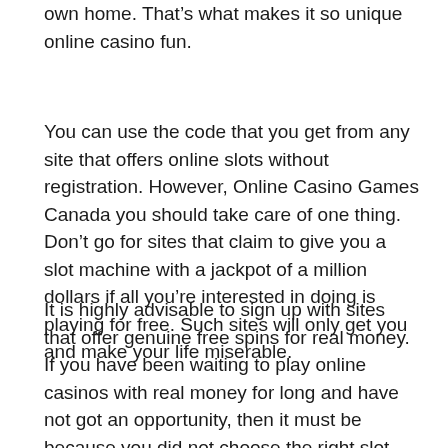own home. That's what makes it so unique online casino fun.
You can use the code that you get from any site that offers online slots without registration. However, Online Casino Games Canada you should take care of one thing. Don't go for sites that claim to give you a slot machine with a jackpot of a million dollars if all you're interested in doing is playing for free. Such sites will only get you and make your life miserable.
It is highly advisable to sign up with sites that offer genuine free spins for real money. If you have been waiting to play online casinos with real money for long and have not got an opportunity, then it must be because you did not choose the right slot machines for your online gambling pleasure. Most of us tend to go for the